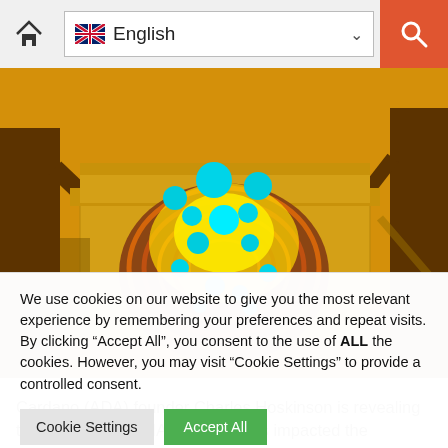English (language selector with home and search icons)
[Figure (illustration): Stylized game/fantasy illustration showing a golden temple portal with a swirling brown vortex and multiple cyan/teal glowing orbs floating above it, flanked by dark tree trunks on an orange-gold background.]
Cardano (ADA) founder Charles Hoskinson is revealing that the Terra (LUNA) collapse has impacted the development of the sixth-largest
We use cookies on our website to give you the most relevant experience by remembering your preferences and repeat visits. By clicking “Accept All”, you consent to the use of ALL the cookies. However, you may visit "Cookie Settings" to provide a controlled consent.